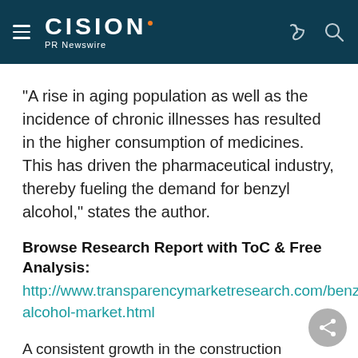CISION PR Newswire
"A rise in aging population as well as the incidence of chronic illnesses has resulted in the higher consumption of medicines. This has driven the pharmaceutical industry, thereby fueling the demand for benzyl alcohol," states the author.
Browse Research Report with ToC & Free Analysis:
http://www.transparencymarketresearch.com/benzyl-alcohol-market.html
A consistent growth in the construction activities automobile production has resulted in the increased